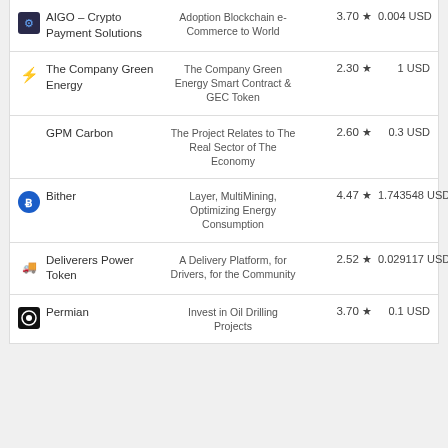| Name | Description | Rating | Price |
| --- | --- | --- | --- |
| AIGO – Crypto Payment Solutions | Adoption Blockchain e-Commerce to World | 3.70 ★ | 0.004 USD |
| The Company Green Energy | The Company Green Energy Smart Contract & GEC Token | 2.30 ★ | 1 USD |
| GPM Carbon | The Project Relates to The Real Sector of The Economy | 2.60 ★ | 0.3 USD |
| Bither | Layer, MultiMining, Optimizing Energy Consumption | 4.47 ★ | 1.743548 USD |
| Deliverers Power Token | A Delivery Platform, for Drivers, for the Community | 2.52 ★ | 0.029117 USD |
| Permian | Invest in Oil Drilling Projects | 3.70 ★ | 0.1 USD |